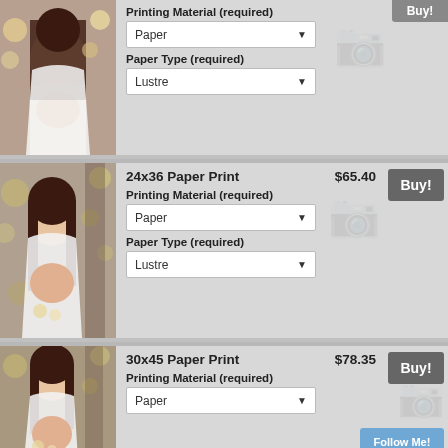[Figure (photo): Maternity photo of woman in white draped fabric with flowers, partially visible at top of page]
Printing Material (required)
Paper
Paper Type (required)
Lustre
[Figure (photo): Maternity photo of woman in white draped fabric with flowers]
24x36 Paper Print
$65.40
Printing Material (required)
Paper
Paper Type (required)
Lustre
[Figure (photo): Maternity photo of woman in white draped fabric with flowers, partially visible at bottom]
30x45 Paper Print
$78.35
Printing Material (required)
Paper